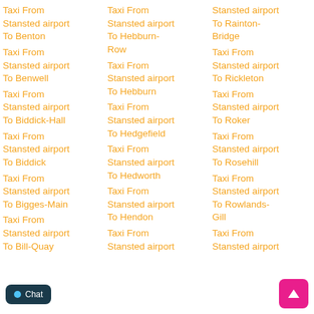Taxi From Stansted airport To Benton
Taxi From Stansted airport To Benwell
Taxi From Stansted airport To Biddick-Hall
Taxi From Stansted airport To Biddick
Taxi From Stansted airport To Bigges-Main
Taxi From Stansted airport To Bill-Quay
Taxi From Stansted airport To Hebburn-Row
Taxi From Stansted airport To Hebburn
Taxi From Stansted airport To Hedgefield
Taxi From Stansted airport To Hedworth
Taxi From Stansted airport To Hendon
Taxi From Stansted airport
Stansted airport To Rainton-Bridge
Taxi From Stansted airport To Rickleton
Taxi From Stansted airport To Roker
Taxi From Stansted airport To Rosehill
Taxi From Stansted airport To Rowlands-Gill
Taxi From Stansted airport